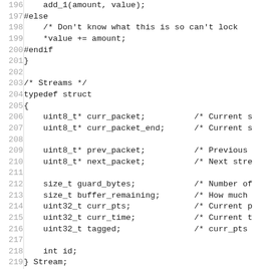[Figure (other): Source code listing in C, lines 196-225, showing code for stream struct typedef and related static declarations, with line numbers on the left and code on the right.]